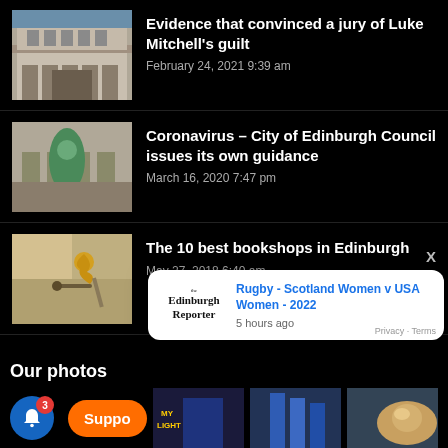[Figure (photo): Exterior of a large stone building (Edinburgh building)]
Evidence that convinced a jury of Luke Mitchell's guilt
February 24, 2021 9:39 am
[Figure (photo): Green statue of a figure against a stone building facade]
Coronavirus – City of Edinburgh Council issues its own guidance
March 16, 2020 7:47 pm
[Figure (photo): Golden decorative sign bracket on a stone building]
The 10 best bookshops in Edinburgh
May 27, 2018 6:40 am
Our photos
[Figure (photo): Notification popup: Rugby - Scotland Women v USA Women - 2022, 5 hours ago, Edinburgh Reporter logo]
Rugby - Scotland Women v USA Women - 2022
5 hours ago